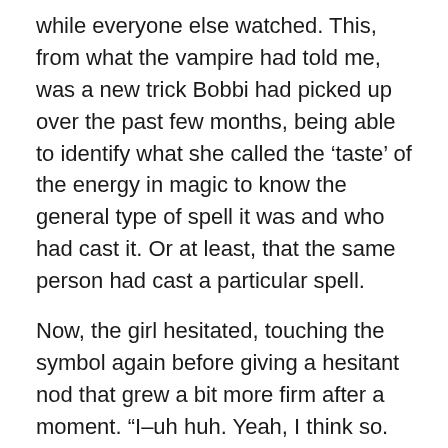while everyone else watched. This, from what the vampire had told me, was a new trick Bobbi had picked up over the past few months, being able to identify what she called the 'taste' of the energy in magic to know the general type of spell it was and who had cast it. Or at least, that the same person had cast a particular spell.
Now, the girl hesitated, touching the symbol again before giving a hesitant nod that grew a bit more firm after a moment. “I–uh huh. Yeah, I think so. It’s pretty distinct magic. Whoever put it there, if I can feel their magic, I’ll know it’s them.” Her words were somewhat uncertain at first, but gradually became confident toward the end. “I can do it, I can identify them. Mr. Rendell’s been teaching me.”
“A Stardrinker-Heretic,” Eldridge noted with an approving